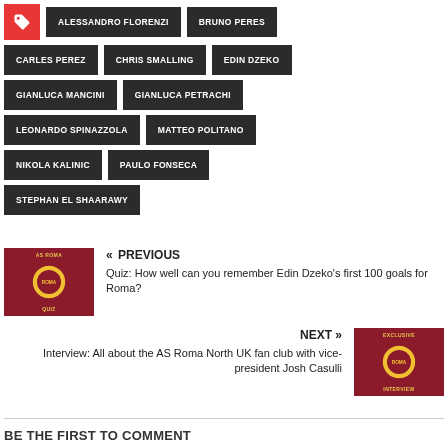ALESSANDRO FLORENZI
BRUNO PERES
CARLES PEREZ
CHRIS SMALLING
EDIN DZEKO
GIANLUCA MANCINI
GIANLUCA PETRACHI
LEONARDO SPINAZZOLA
MATTEO POLITANO
NIKOLA KALINIC
PAULO FONSECA
STEPHAN EL SHAARAWY
« PREVIOUS
Quiz: How well can you remember Edin Dzeko's first 100 goals for Roma?
NEXT »
Interview: All about the AS Roma North UK fan club with vice-president Josh Casulli
BE THE FIRST TO COMMENT